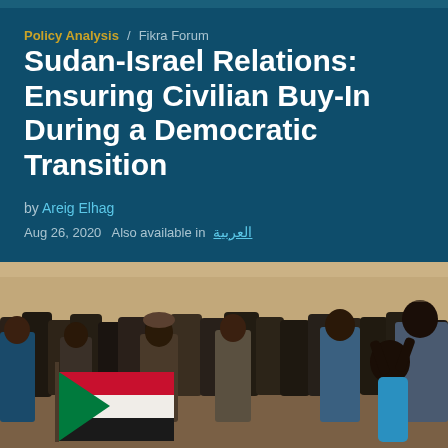Policy Analysis / Fikra Forum
Sudan-Israel Relations: Ensuring Civilian Buy-In During a Democratic Transition
by Areig Elhag
Aug 26, 2020  Also available in العربية
[Figure (photo): Crowd of people gathered outdoors, some holding a Sudanese flag with red, white, black, and green stripes. People appear to be at a public demonstration or gathering.]